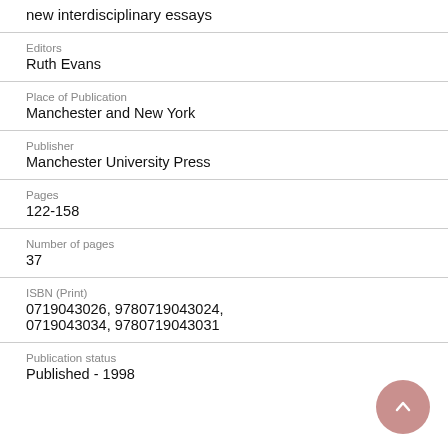new interdisciplinary essays
Editors
Ruth Evans
Place of Publication
Manchester and New York
Publisher
Manchester University Press
Pages
122-158
Number of pages
37
ISBN (Print)
0719043026, 9780719043024, 0719043034, 9780719043031
Publication status
Published - 1998